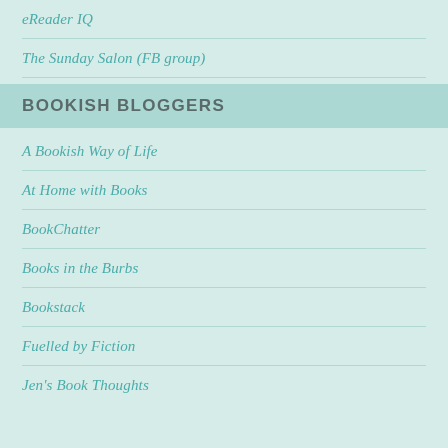eReader IQ
The Sunday Salon (FB group)
BOOKISH BLOGGERS
A Bookish Way of Life
At Home with Books
BookChatter
Books in the Burbs
Bookstack
Fuelled by Fiction
Jen's Book Thoughts